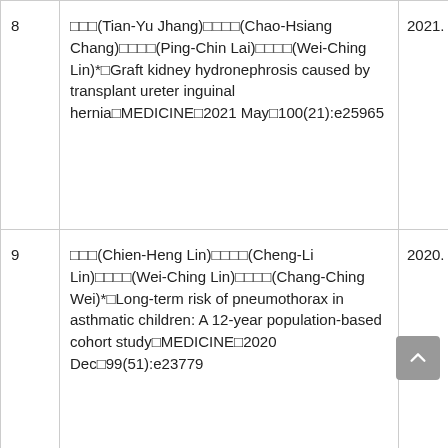| # | Authors / Title / Journal | Date |
| --- | --- | --- |
| 8 | □□□(Tian-Yu Jhang)□□□□(Chao-Hsiang Chang)□□□□(Ping-Chin Lai)□□□□(Wei-Ching Lin)*□Graft kidney hydronephrosis caused by transplant ureter inguinal hernia□MEDICINE□2021 May□100(21):e25965 | 2021. 05 |
| 9 | □□□(Chien-Heng Lin)□□□□(Cheng-Li Lin)□□□□(Wei-Ching Lin)□□□□(Chang-Ching Wei)*□Long-term risk of pneumothorax in asthmatic children: A 12-year population-based cohort study□MEDICINE□2020 Dec□99(51):e23779 | 2020. 12 |
| 10 | □□□(Wei-Ching Lin)□□□□(Chao- | 2020 |